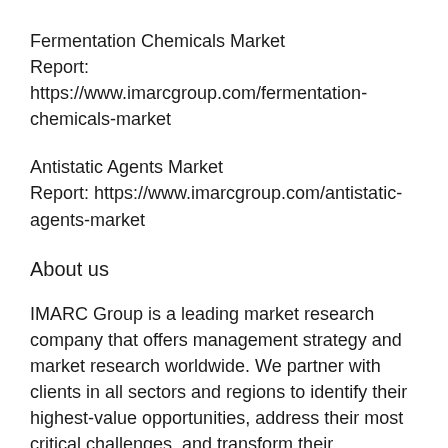Fermentation Chemicals Market Report: https://www.imarcgroup.com/fermentation-chemicals-market
Antistatic Agents Market Report: https://www.imarcgroup.com/antistatic-agents-market
About us
IMARC Group is a leading market research company that offers management strategy and market research worldwide. We partner with clients in all sectors and regions to identify their highest-value opportunities, address their most critical challenges, and transform their businesses.